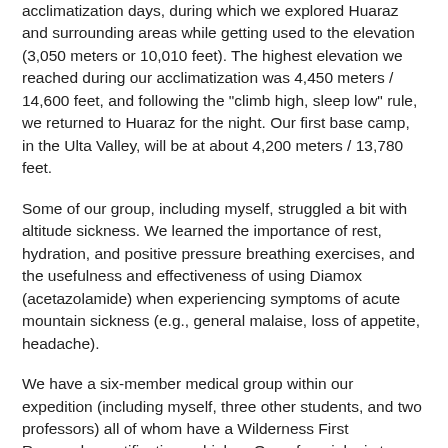acclimatization days, during which we explored Huaraz and surrounding areas while getting used to the elevation (3,050 meters or 10,010 feet).  The highest elevation we reached during our acclimatization was 4,450 meters / 14,600 feet, and following the "climb high, sleep low" rule, we returned to Huaraz for the night.  Our first base camp, in the Ulta Valley, will be at about 4,200 meters / 13,780 feet.
Some of our group, including myself, struggled a bit with altitude sickness.  We learned the importance of rest, hydration, and positive pressure breathing exercises, and the usefulness and effectiveness of using Diamox (acetazolamide) when experiencing symptoms of acute mountain sickness (e.g., general malaise, loss of appetite, headache).
We have a six-member medical group within our expedition (including myself, three other students, and two professors) all of whom have a Wilderness First Responder certification or higher.  One of our jobs is to check everyone's blood oxygen saturation, heart rate, and blood pressure every morning and night to identify anyone having an abnormally